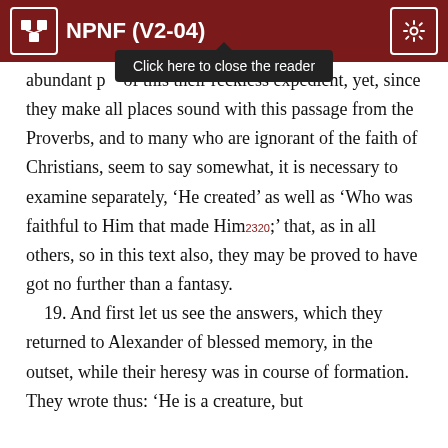NPNF (V2-04)
abundant p... of this their reckless expedient, yet, since they make all places sound with this passage from the Proverbs, and to many who are ignorant of the faith of Christians, seem to say somewhat, it is necessary to examine separately, ‘He created’ as well as ‘Who was faithful to Him that made Him2320;’ that, as in all others, so in this text also, they may be proved to have got no further than a fantasy.
19. And first let us see the answers, which they returned to Alexander of blessed memory, in the outset, while their heresy was in course of formation. They wrote thus: ‘He is a creature, but